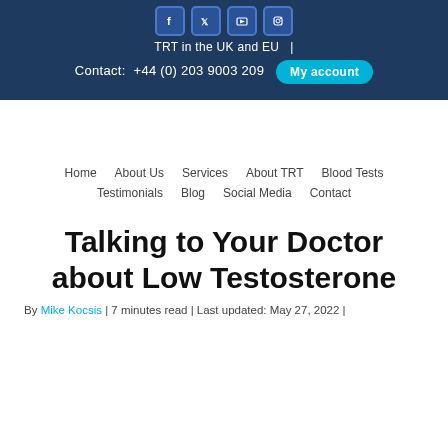TRT in the UK and EU  |  Contact: +44 (0) 203 9003 209  My account
Home  About Us  Services  About TRT  Blood Tests  Testimonials  Blog  Social Media  Contact
Talking to Your Doctor about Low Testosterone
By Mike Kocsis | 7 minutes read | Last updated: May 27, 2022 |